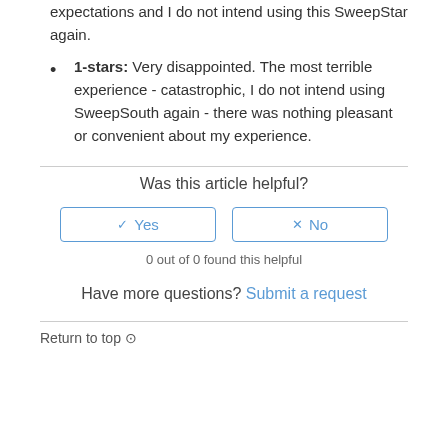expectations and I do not intend using this SweepStar again.
1-stars: Very disappointed. The most terrible experience - catastrophic, I do not intend using SweepSouth again - there was nothing pleasant or convenient about my experience.
Was this article helpful?
0 out of 0 found this helpful
Have more questions? Submit a request
Return to top